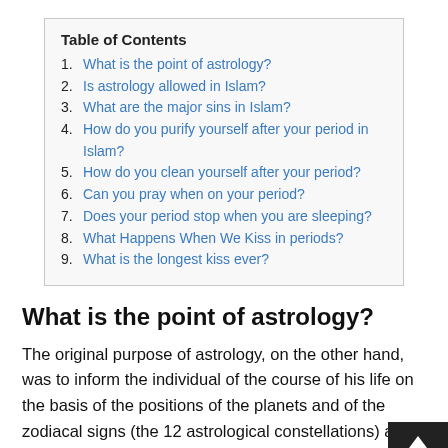Table of Contents
1. What is the point of astrology?
2. Is astrology allowed in Islam?
3. What are the major sins in Islam?
4. How do you purify yourself after your period in Islam?
5. How do you clean yourself after your period?
6. Can you pray when on your period?
7. Does your period stop when you are sleeping?
8. What Happens When We Kiss in periods?
9. What is the longest kiss ever?
What is the point of astrology?
The original purpose of astrology, on the other hand, was to inform the individual of the course of his life on the basis of the positions of the planets and of the zodiacal signs (the 12 astrological constellations) a...